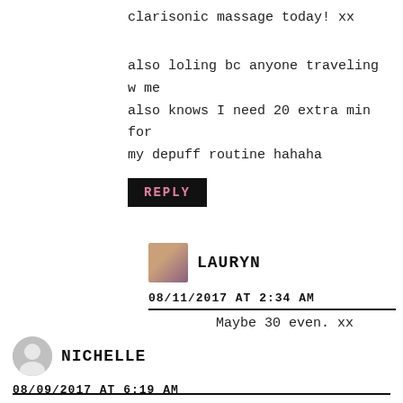clarisonic massage today! xx

also loling bc anyone traveling w me also knows I need 20 extra min for my depuff routine hahaha
REPLY
LAURYN
08/11/2017 AT 2:34 AM
Maybe 30 even. xx
NICHELLE
08/09/2017 AT 6:19 AM
Yes please do a video! Ever since I